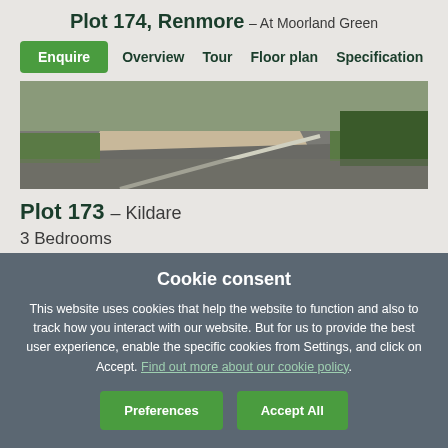Plot 174, Renmore – At Moorland Green
Enquire  Overview  Tour  Floor plan  Specification
[Figure (photo): Exterior photo showing a driveway with paving, lawn grass, and a hedge]
Plot 173 – Kildare
3 Bedrooms
Single Integral Garage
Cookie consent
This website uses cookies that help the website to function and also to track how you interact with our website. But for us to provide the best user experience, enable the specific cookies from Settings, and click on Accept. Find out more about our cookie policy.
Preferences
Accept All